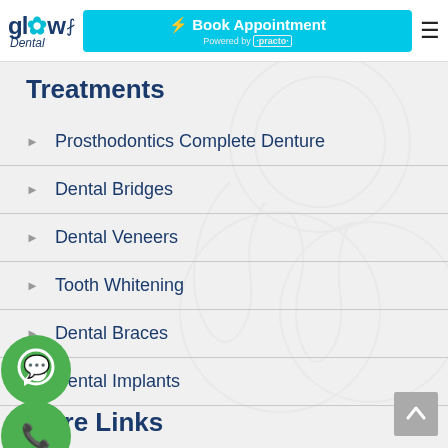[Figure (logo): Glow Dental logo with stylized flower/star in 'o', Book Appointment button powered by Practo, and hamburger menu icon]
Treatments
Prosthodontics Complete Denture
Dental Bridges
Dental Veneers
Tooth Whitening
Dental Braces
Dental Implants
More Links
[Figure (illustration): Green WhatsApp floating button icon]
[Figure (illustration): Green phone call floating button icon]
[Figure (illustration): Grey scroll-to-top arrow button]